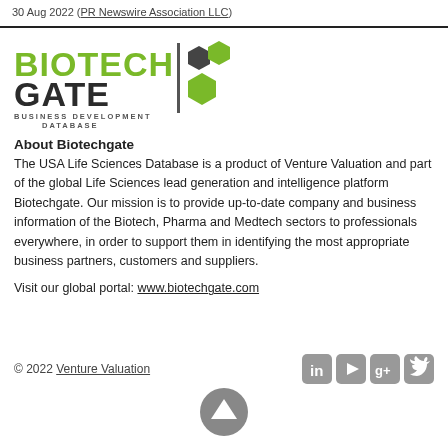30 Aug 2022 (PR Newswire Association LLC)
[Figure (logo): Biotechgate Business Development Database logo with green and dark hexagons]
About Biotechgate
The USA Life Sciences Database is a product of Venture Valuation and part of the global Life Sciences lead generation and intelligence platform Biotechgate. Our mission is to provide up-to-date company and business information of the Biotech, Pharma and Medtech sectors to professionals everywhere, in order to support them in identifying the most appropriate business partners, customers and suppliers.
Visit our global portal: www.biotechgate.com
© 2022 Venture Valuation
[Figure (other): Scroll to top up-arrow button]